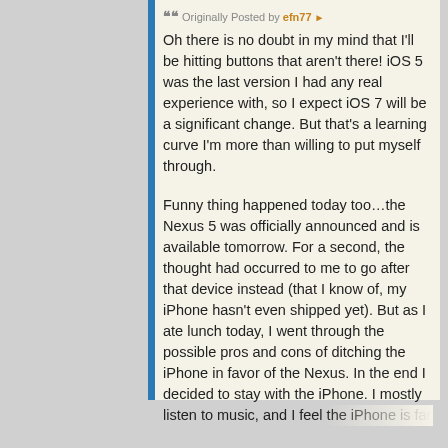Originally Posted by efn77
Oh there is no doubt in my mind that I'll be hitting buttons that aren't there! iOS 5 was the last version I had any real experience with, so I expect iOS 7 will be a significant change. But that's a learning curve I'm more than willing to put myself through.
Funny thing happened today too...the Nexus 5 was officially announced and is available tomorrow. For a second, the thought had occurred to me to go after that device instead (that I know of, my iPhone hasn't even shipped yet). But as I ate lunch today, I went through the possible pros and cons of ditching the iPhone in favor of the Nexus. In the end I decided to stay with the iPhone. I mostly listen to music, and I feel the iPhone is far